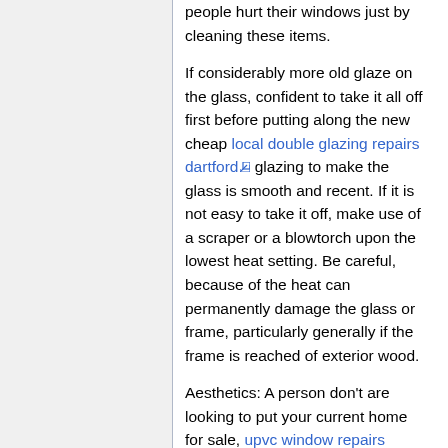people hurt their windows just by cleaning these items.
If considerably more old glaze on the glass, confident to take it all off first before putting along the new cheap local double glazing repairs dartford glazing to make the glass is smooth and recent. If it is not easy to take it off, make use of a scraper or a blowtorch upon the lowest heat setting. Be careful, because of the heat can permanently damage the glass or frame, particularly generally if the frame is reached of exterior wood.
Aesthetics: A person don't are looking to put your current home for sale, upvc window repairs dartford possess a record it is aesthetically amiable. A period home will not look good with upvc window repairs dartford windows, or